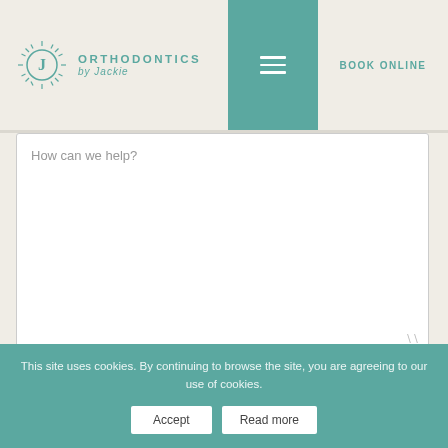[Figure (logo): Orthodontics by Jackie logo with circular sun-like icon and teal text]
How can we help?
I understand that a member of the team will contact me to arrange my consultation using the details provided.
This site uses cookies. By continuing to browse the site, you are agreeing to our use of cookies.
Accept
Read more